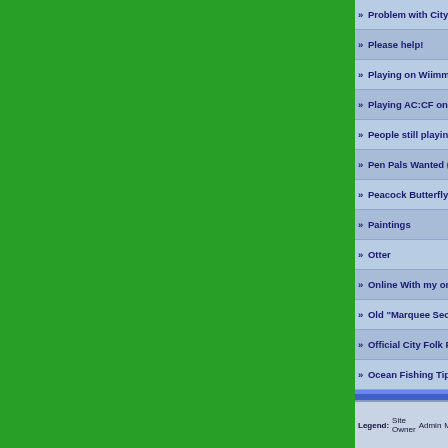Problem with City Folk town after a year of not playing
Please help!
Playing on Wiimmfi
Playing AC:CF on Wii U- Friends???
People still playing city folk?
Pen Pals Wanted (FOREIGN?)
Peacock Butterfly
Paintings
Otter
Online With my on City Folk
Old "Marquee Second Floor" rumor
Official City Folk Photo Gallery - Version 6.42
Ocean Fishing Tip
Nookingtons?
Nookington's Downgraded
new town on ACCF.. wanna play online with wiimmfi??
need friends that use wiimmfi please
need friends on CF
Nature day and Flea market mess up?
Legend: Site Owner  Administrator  Moderator